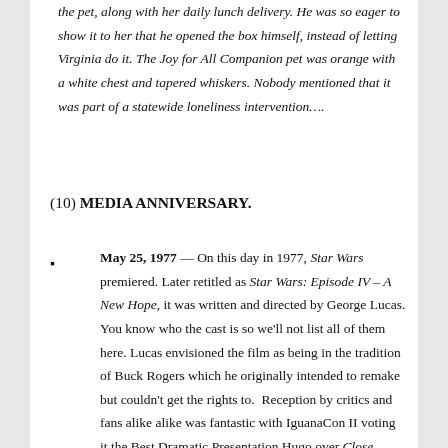the pet, along with her daily lunch delivery. He was so eager to show it to her that he opened the box himself, instead of letting Virginia do it. The Joy for All Companion pet was orange with a white chest and tapered whiskers. Nobody mentioned that it was part of a statewide loneliness intervention….
(10) MEDIA ANNIVERSARY.
May 25, 1977 — On this day in 1977, Star Wars premiered. Later retitled as Star Wars: Episode IV – A New Hope, it was written and directed by George Lucas. You know who the cast is so we'll not list all of them here. Lucas envisioned the film as being in the tradition of Buck Rogers which he originally intended to remake but couldn't get the rights to.  Reception by critics and fans alike alike was fantastic with IguanaCon II voting it the Best Dramatic Presentation Hugo over Close Encounters of the Third Kind. It holds a stellar